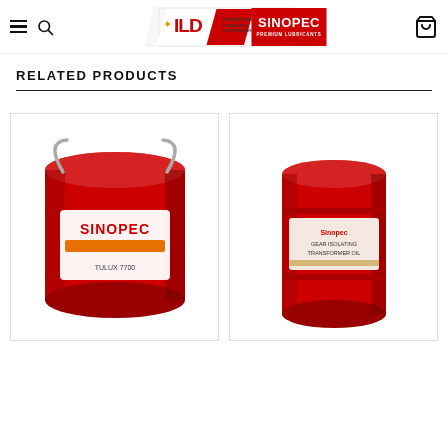ILD International Lubricant Distributors | SINOPEC Premium Lubricants
RELATED PRODUCTS
[Figure (photo): Red Sinopec lubricant bucket/pail product]
[Figure (photo): Red Sinopec lubricant drum/barrel product]